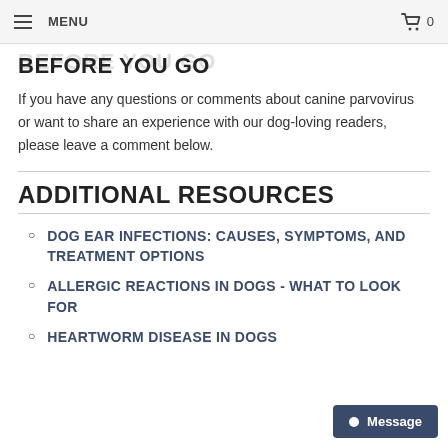MENU  🛒 0
BEFORE YOU GO
If you have any questions or comments about canine parvovirus or want to share an experience with our dog-loving readers, please leave a comment below.
ADDITIONAL RESOURCES
DOG EAR INFECTIONS: CAUSES, SYMPTOMS, AND TREATMENT OPTIONS
ALLERGIC REACTIONS IN DOGS - WHAT TO LOOK FOR
HEARTWORM DISEASE IN DOGS